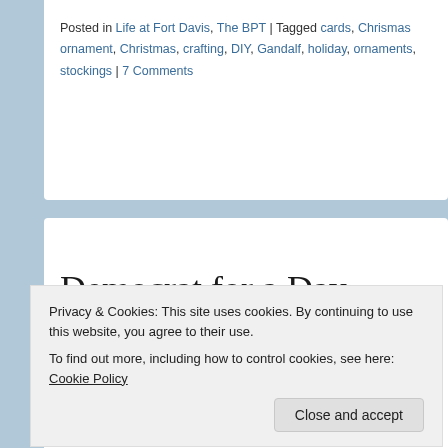Posted in Life at Fort Davis, The BPT | Tagged cards, Chrismas ornament, Christmas, crafting, DIY, Gandalf, holiday, ornaments, stockings | 7 Comments
Democrat for a Day
Posted on September 27, 2011 by A.J.
Privacy & Cookies: This site uses cookies. By continuing to use this website, you agree to their use. To find out more, including how to control cookies, see here: Cookie Policy